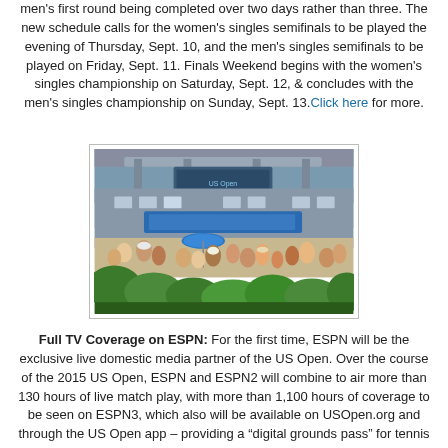men's first round being completed over two days rather than three. The new schedule calls for the women's singles semifinals to be played the evening of Thursday, Sept. 10, and the men's singles semifinals to be played on Friday, Sept. 11. Finals Weekend begins with the women's singles championship on Saturday, Sept. 12, & concludes with the men's singles championship on Sunday, Sept. 13. Click here for more.
[Figure (photo): Outdoor photo of US Open tennis venue grounds with a crowd of people, blue umbrella, trees/shrubs in foreground, and stadium structure in background.]
Full TV Coverage on ESPN: For the first time, ESPN will be the exclusive live domestic media partner of the US Open. Over the course of the 2015 US Open, ESPN and ESPN2 will combine to air more than 130 hours of live match play, with more than 1,100 hours of coverage to be seen on ESPN3, which also will be available on USOpen.org and through the US Open app – providing a "digital grounds pass" for tennis fans.